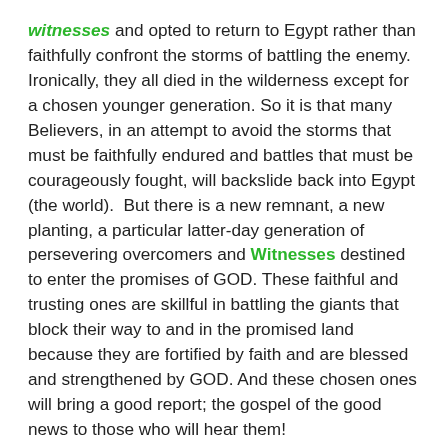witnesses and opted to return to Egypt rather than faithfully confront the storms of battling the enemy. Ironically, they all died in the wilderness except for a chosen younger generation. So it is that many Believers, in an attempt to avoid the storms that must be faithfully endured and battles that must be courageously fought, will backslide back into Egypt (the world).  But there is a new remnant, a new planting, a particular latter-day generation of persevering overcomers and Witnesses destined to enter the promises of GOD. These faithful and trusting ones are skillful in battling the giants that block their way to and in the promised land because they are fortified by faith and are blessed and strengthened by GOD. And these chosen ones will bring a good report; the gospel of the good news to those who will hear them!
"But blessed is the man who trusts in the LORD, whose confidence is in Him. He is like a tree planted by the waters